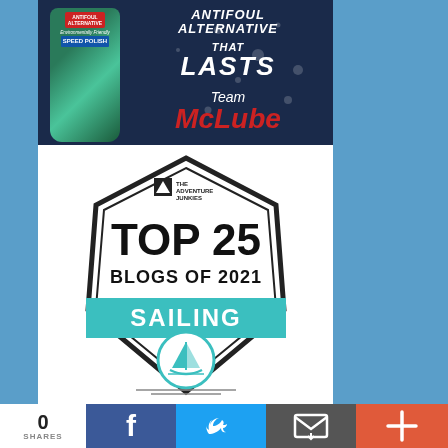[Figure (photo): Advertisement for McLube Antifoul Alternative Speed Polish product — bottle on dark water-droplet background with text 'ANTIFOUL ALTERNATIVE', 'THAT LASTS', 'Team McLube']
[Figure (logo): The Adventure Junkies badge: Top 25 Blogs of 2021 — Sailing, with sailboat icon and teal/turquoise banner]
0 SHARES
[Figure (infographic): Social share bar with Facebook, Twitter, email, and plus buttons]